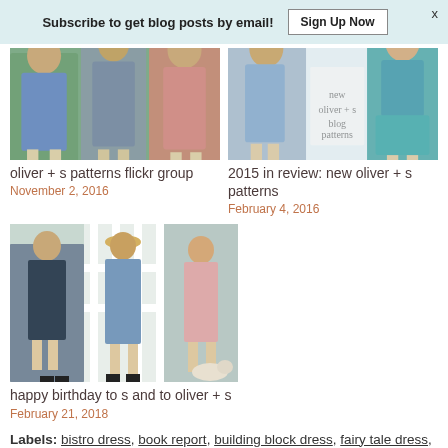Subscribe to get blog posts by email! Sign Up Now
[Figure (photo): Three children wearing dresses and jackets - oliver + s patterns flickr group]
oliver + s patterns flickr group
November 2, 2016
[Figure (photo): Two children and brand logo - 2015 in review: new oliver + s patterns]
2015 in review: new oliver + s patterns
February 4, 2016
[Figure (photo): Three children in dresses outdoors - happy birthday to s and to oliver + s]
happy birthday to s and to oliver + s
February 21, 2018
Labels: bistro dress, book report, building block dress, fairy tale dress, field trip, hide-and-seek, maritime, nature walk, playtime, popover sundress, quick sewing tips, reversible bucket hat, sewing translator, tea party, woodland clearing